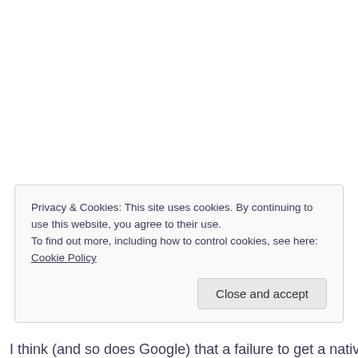Privacy & Cookies: This site uses cookies. By continuing to use this website, you agree to their use.
To find out more, including how to control cookies, see here: Cookie Policy
Close and accept
I think (and so does Google) that a failure to get a native